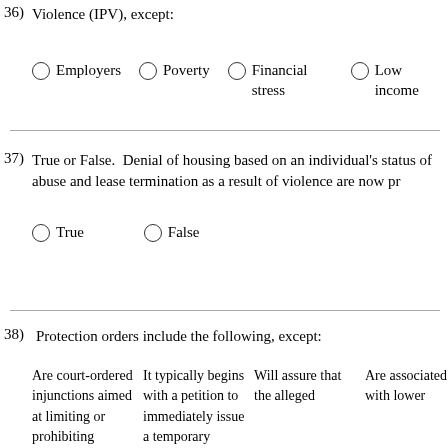36) Violence (IPV), except:
Employers
Poverty
Financial stress
Low income
37) True or False.  Denial of housing based on an individual's status of abuse and lease termination as a result of violence are now p
True
False
38)  Protection orders include the following, except:
Are court-ordered injunctions aimed at limiting or prohibiting contact between
It typically begins with a petition to immediately issue a temporary
Will assure that the alleged
Are associated with lower